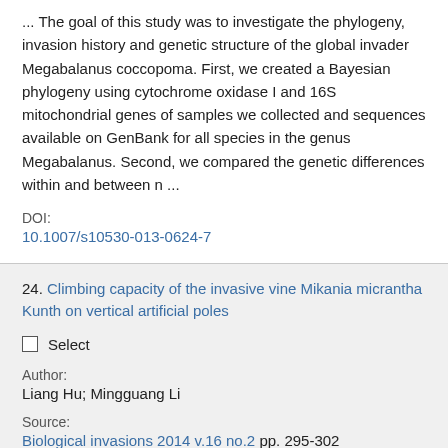... The goal of this study was to investigate the phylogeny, invasion history and genetic structure of the global invader Megabalanus coccopoma. First, we created a Bayesian phylogeny using cytochrome oxidase I and 16S mitochondrial genes of samples we collected and sequences available on GenBank for all species in the genus Megabalanus. Second, we compared the genetic differences within and between n ...
DOI: 10.1007/s10530-013-0624-7
24. Climbing capacity of the invasive vine Mikania micrantha Kunth on vertical artificial poles
Select
Author: Liang Hu; Mingguang Li
Source: Biological invasions 2014 v.16 no.2 pp. 295-302